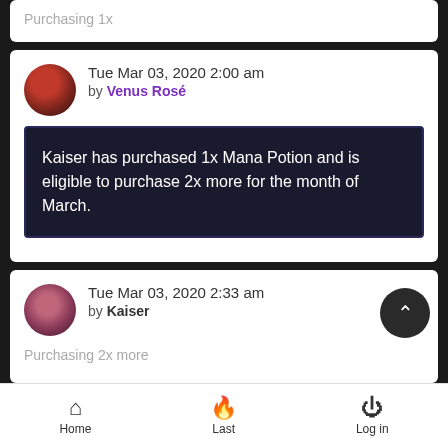Purchasing 1x
Tue Mar 03, 2020 2:00 am
by Venus Rosé
Kaiser has purchased 1x Mana Potion and is eligible to purchase 2x more for the month of March.
Tue Mar 03, 2020 2:33 am
by Kaiser
Purchasing 2x more
Home  Last  Log in